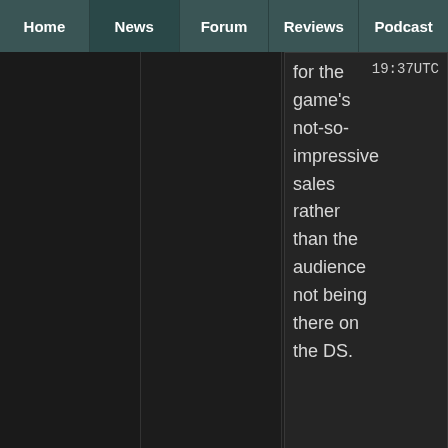Home | News | Forum | Reviews | Podcast
for the game's not-so-impressive sales rather than the audience not being there on the DS.
19:37UTC
Did you and ASK buy this game yet?

*readies beating stick*